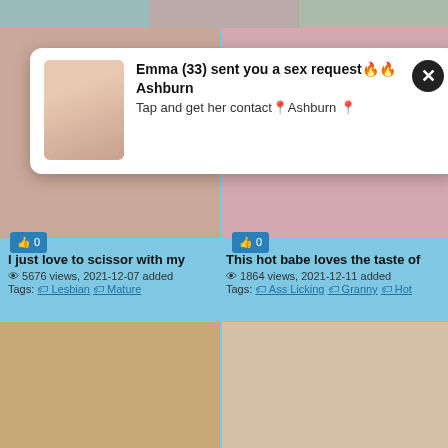[Figure (screenshot): Popup notification: Emma (33) sent you a sex request from Ashburn. Tap and get her contact in Ashburn.]
I just love to scissor with my
5676 views, 2021-12-07 added
Tags: Lesbian Mature
This hot babe loves the taste of
1864 views, 2021-12-11 added
Tags: Ass Licking Granny Hot